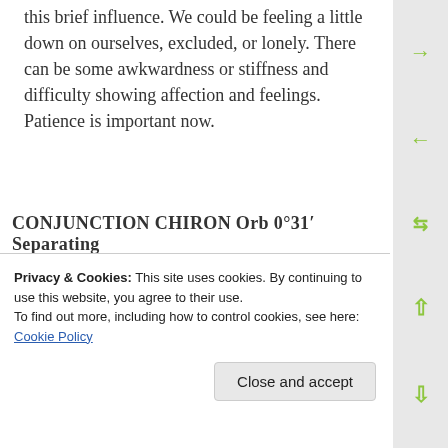this brief influence. We could be feeling a little down on ourselves, excluded, or lonely. There can be some awkwardness or stiffness and difficulty showing affection and feelings. Patience is important now.
CONJUNCTION CHIRON  Orb 0°31′ Separating
This is a time when we may be taking care of others, sympathetic to their needs, and aware of our own vulnerabilities as well. There can be events or memories that trigger feelings of rejection or loss...
Privacy & Cookies: This site uses cookies. By continuing to use this website, you agree to their use.
To find out more, including how to control cookies, see here: Cookie Policy
also quite vulnerable.